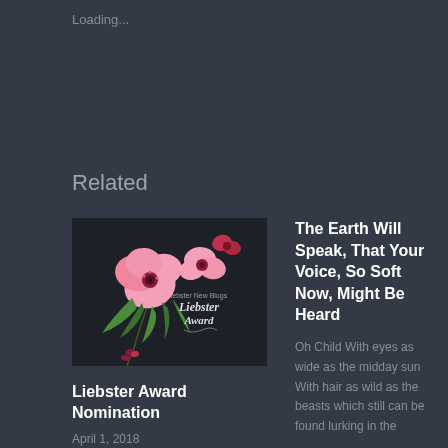Loading...
Related
[Figure (illustration): Liebster Award Nomination image with pink flowers and Liebster Award text on dark background]
Liebster Award Nomination
April 1, 2018
In "Free-Verse Poetry"
The Earth Will Speak, That Your Voice, So Soft Now, Might Be Heard
Oh Child With eyes as wide as the midday sun With hair as wild as the beasts which still can be found lurking in the
October 11, 2018
In "Free-Verse Poetry"